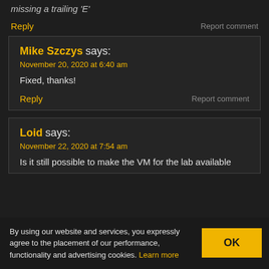missing a trailing 'E'
Reply   Report comment
Mike Szczys says:
November 20, 2020 at 6:40 am
Fixed, thanks!
Reply   Report comment
Loid says:
November 22, 2020 at 7:54 am
Is it still possible to make the VM for the lab available
By using our website and services, you expressly agree to the placement of our performance, functionality and advertising cookies. Learn more  OK